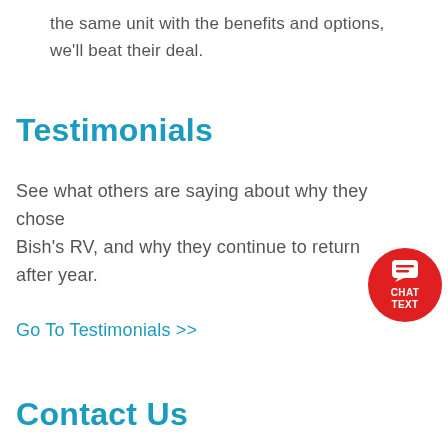the same unit with the benefits and options, we'll beat their deal.
Testimonials
See what others are saying about why they chose Bish's RV, and why they continue to return after year.
Go To Testimonials >>
Contact Us